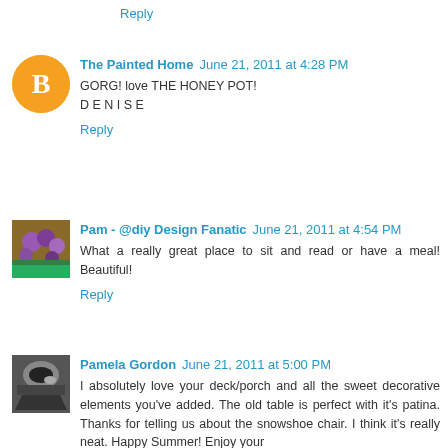Reply
The Painted Home  June 21, 2011 at 4:28 PM
GORG! love THE HONEY POT!
D E N I S E
Reply
Pam - @diy Design Fanatic  June 21, 2011 at 4:54 PM
What a really great place to sit and read or have a meal! Beautiful!
Reply
Pamela Gordon  June 21, 2011 at 5:00 PM
I absolutely love your deck/porch and all the sweet decorative elements you've added. The old table is perfect with it's patina. Thanks for telling us about the snowshoe chair. I think it's really neat. Happy Summer! Enjoy your